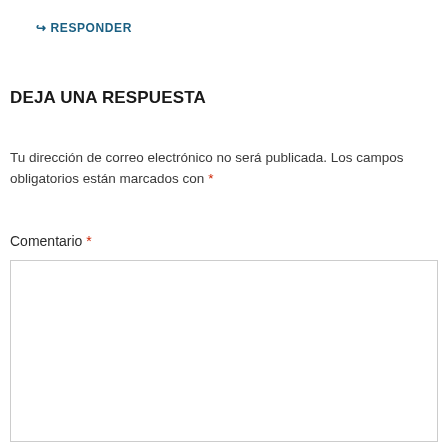↳ RESPONDER
DEJA UNA RESPUESTA
Tu dirección de correo electrónico no será publicada. Los campos obligatorios están marcados con *
Comentario *
[Figure (other): Empty comment textarea input box with border]